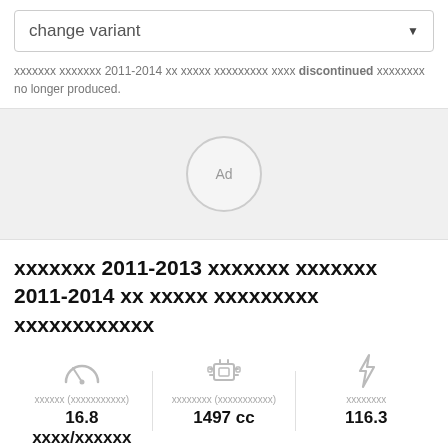change variant
xxxxxxx xxxxxxx 2011-2014 xx xxxxx xxxxxxxxx xxxx discontinued xxxxxxxx no longer produced.
[Figure (other): Ad placeholder circle with 'Ad' label]
xxxxxxx 2011-2013 xxxxxxx xxxxxxx 2011-2014 xx xxxxx xxxxxxxxx xxxxxxxxxxxx
[Figure (infographic): Three spec icons: speedometer for mileage, engine icon for displacement, lightning bolt for power]
xxxxxx (xxxxxxxxxxx) 16.8 xxxx/xxxxxx
xxxxxxxx (xxxxxxxxxxx) 1497 cc
xxxxxxxx 116.3